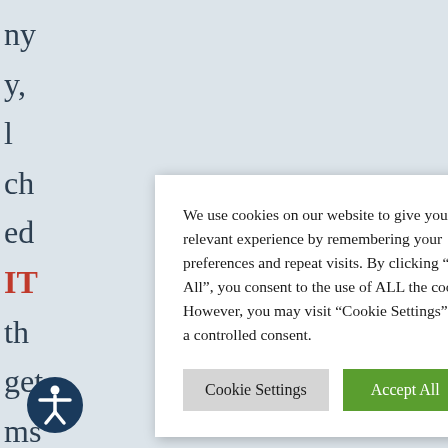ny
y,
l
ch
ed
IT
th
get
ms
er
of
We use cookies on our website to give you the most relevant experience by remembering your preferences and repeat visits. By clicking “Accept All”, you consent to the use of ALL the cookies. However, you may visit "Cookie Settings" to provide a controlled consent.
Cookie Settings
Accept All